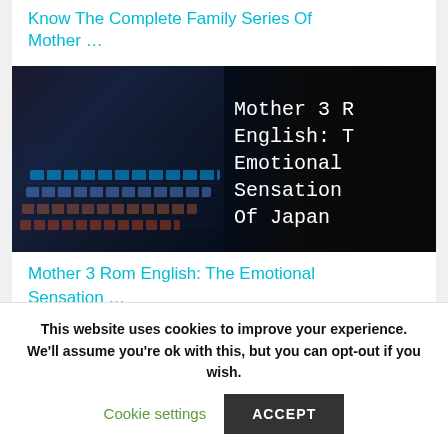Know The Complete Family Series Of Mother …
[Figure (photo): Dark background with a laptop keyboard illuminated with colorful RGB lights on the left side. On the right side overlaid white monospace text reads: Mother 3 R English: T Emotional Sensation Of Japan]
Mother 3 Rom English: The Emotional Sensation …
This website uses cookies to improve your experience. We'll assume you're ok with this, but you can opt-out if you wish.
Cookie settings
ACCEPT